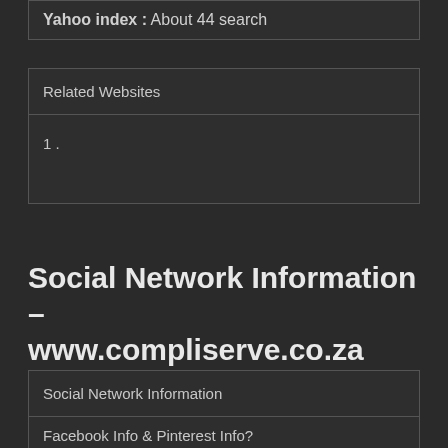Yahoo index : About 44 search
| Related Websites |
| --- |
| 1. |
Social Network Information – www.compliserve.co.za
| Social Network Information |
| --- |
| Facebook Info & Pinterest Info? |